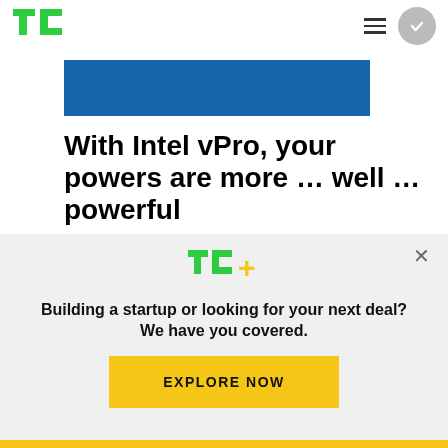TechCrunch header with TC logo, hamburger menu, and checkmark circle button
[Figure (photo): Blue banner image placeholder]
With Intel vPro, your powers are more … well … powerful
Sponsored by Intel
[Figure (logo): TC+ logo with green TC letters and gold plus sign]
Building a startup or looking for your next deal? We have you covered.
EXPLORE NOW